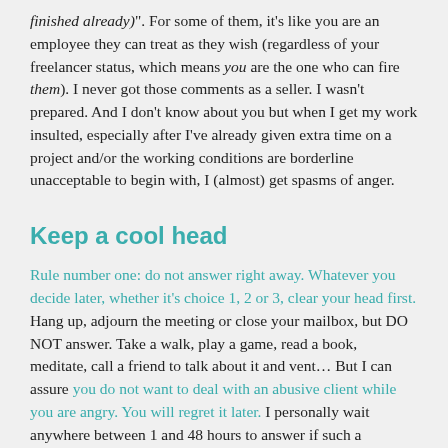finished already)". For some of them, it's like you are an employee they can treat as they wish (regardless of your freelancer status, which means you are the one who can fire them). I never got those comments as a seller. I wasn't prepared. And I don't know about you but when I get my work insulted, especially after I've already given extra time on a project and/or the working conditions are borderline unacceptable to begin with, I (almost) get spasms of anger.
Keep a cool head
Rule number one: do not answer right away. Whatever you decide later, whether it's choice 1, 2 or 3, clear your head first. Hang up, adjourn the meeting or close your mailbox, but DO NOT answer. Take a walk, play a game, read a book, meditate, call a friend to talk about it and vent... But I can assure you do not want to deal with an abusive client while you are angry. You will regret it later. I personally wait anywhere between 1 and 48 hours to answer if such a